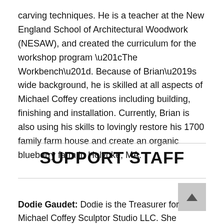carving techniques. He is a teacher at the New England School of Architectural Woodwork (NESAW), and created the curriculum for the workshop program “The Workbench”. Because of Brian’s wide background, he is skilled at all aspects of Michael Coffey creations including building, finishing and installation. Currently, Brian is also using his skills to lovingly restore his 1700 family farm house and create an organic blueberry farm in Holyoke, MA.
SUPPORT STAFF
Dodie Gaudet: Dodie is the Treasurer for Michael Coffey Sculptor Studio LLC. She maintains the financial records, files the annual report with the state, compiles information for